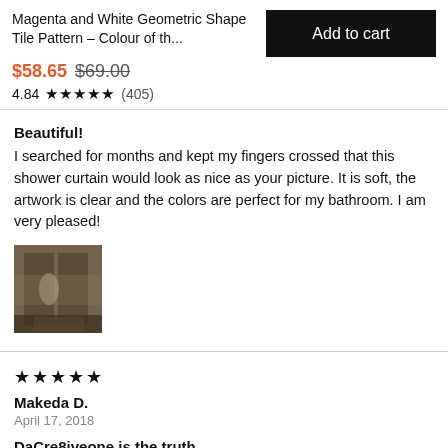Magenta and White Geometric Shape Tile Pattern – Colour of th...
$58.65  $69.00
4.84 ★★★★★ (405)
Add to cart
Beautiful!
I searched for months and kept my fingers crossed that this shower curtain would look as nice as your picture. It is soft, the artwork is clear and the colors are perfect for my bathroom. I am very pleased!
[Figure (photo): Thumbnail photo of a shower curtain installed in a bathroom]
★★★★★
Makeda D.
April 17, 2018
DaCre8iveone is the truth
I've always wanted a piece of his art work I admire his work it's unique and beautiful. I stumbled on Society6 site and noticed his